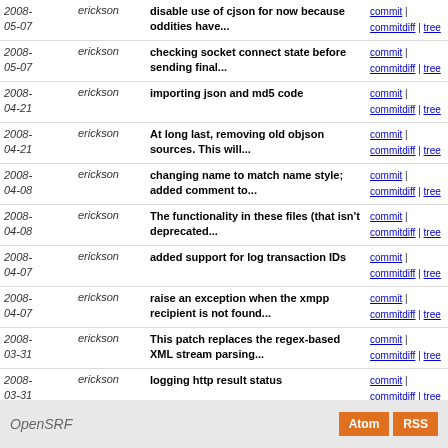| Date | Author | Message | Links |
| --- | --- | --- | --- |
| 2008-05-07 | erickson | disable use of cjson for now because oddities have... | commit | commitdiff | tree |
| 2008-05-07 | erickson | checking socket connect state before sending final... | commit | commitdiff | tree |
| 2008-04-21 | erickson | importing json and md5 code | commit | commitdiff | tree |
| 2008-04-21 | erickson | At long last, removing old objson sources. This will... | commit | commitdiff | tree |
| 2008-04-08 | erickson | changing name to match name style; added comment to... | commit | commitdiff | tree |
| 2008-04-08 | erickson | The functionality in these files (that isn't deprecated... | commit | commitdiff | tree |
| 2008-04-07 | erickson | added support for log transaction IDs | commit | commitdiff | tree |
| 2008-04-07 | erickson | raise an exception when the xmpp recipient is not found... | commit | commitdiff | tree |
| 2008-03-31 | erickson | This patch replaces the regex-based XML stream parsing... | commit | commitdiff | tree |
| 2008-03-31 | erickson | logging http result status | commit | commitdiff | tree |
| 2008-03-29 | erickson | implemented the majority of server-side python. still... | commit | commitdiff | tree |
next
OpenSRF  Atom  RSS